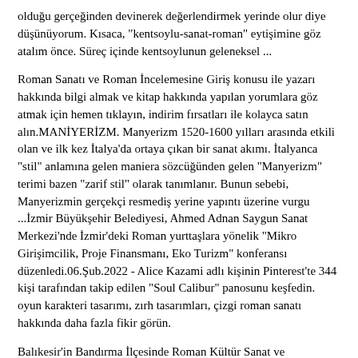olduğu gerçeğinden devinerek değerlendirmek yerinde olur diye düşünüyorum. Kısaca, "kentsoylu-sanat-roman" eytişimine göz atalım önce. Süreç içinde kentsoylunun geleneksel ...
Roman Sanatı ve Roman İncelemesine Giriş konusu ile yazarı hakkında bilgi almak ve kitap hakkında yapılan yorumlara göz atmak için hemen tıklayın, indirim fırsatları ile kolayca satın alın.MANİYERİZM. Manyerizm 1520-1600 yılları arasında etkili olan ve ilk kez İtalya'da ortaya çıkan bir sanat akımı. İtalyanca "stil" anlamına gelen maniera sözcüğünden gelen "Manyerizm" terimi bazen "zarif stil" olarak tanımlanır. Bunun sebebi, Manyerizmin gerçekçi resmediş yerine yapıntı üzerine vurgu ...İzmir Büyükşehir Belediyesi, Ahmed Adnan Saygun Sanat Merkezi'nde İzmir'deki Roman yurttaşlara yönelik "Mikro Girişimcilik, Proje Finansmanı, Eko Turizm" konferansı düzenledi.06.Şub.2022 - Alice Kazami adlı kişinin Pinterest'te 344 kişi tarafından takip edilen "Soul Calibur" panosunu keşfedin. oyun karakteri tasarımı, zırh tasarımları, çizgi roman sanatı hakkında daha fazla fikir görün.
Balıkesir'in Bandırma İlçesinde Roman Kültür Sanat ve Dayanışma Derneği MHP İlçe Teşkilatını ziyaret etti.
Bu roman türleri bağlı olduğu ya da etkisi altında kaldığı akıma göre sınıflandırılır. Türk ve dünya edebiyatında birçok roman